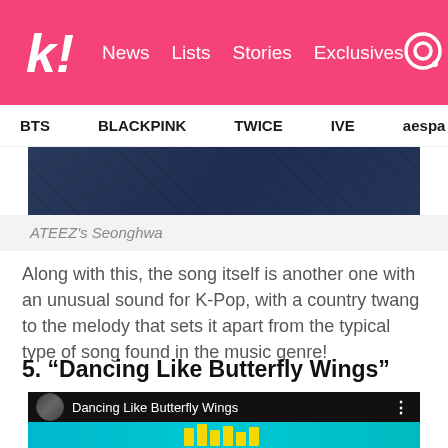k! News Lists Stories Exclusives
BTS BLACKPINK TWICE IVE aespa NCT NewJ
[Figure (photo): Close-up photo of ATEEZ's Seonghwa wearing dark blue outfit]
ATEEZ's Seonghwa
Along with this, the song itself is another one with an unusual sound for K-Pop, with a country twang to the melody that sets it apart from the typical type of song found in the music genre!
5. “Dancing Like Butterfly Wings”
[Figure (screenshot): YouTube video player showing 'Dancing Like Butterfly Wings' with thumbnail of group and teal/yellow graphic]